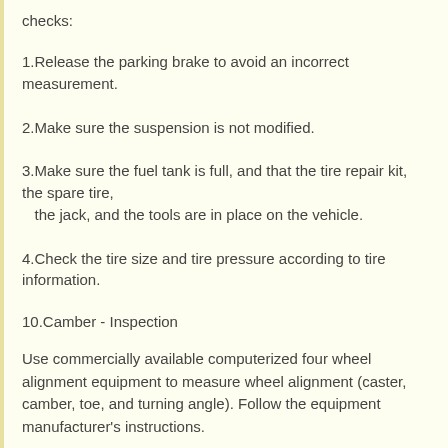checks:
1.Release the parking brake to avoid an incorrect measurement.
2.Make sure the suspension is not modified.
3.Make sure the fuel tank is full, and that the tire repair kit, the spare tire, the jack, and the tools are in place on the vehicle.
4.Check the tire size and tire pressure according to tire information.
10.Camber - Inspection
Use commercially available computerized four wheel alignment equipment to measure wheel alignment (caster, camber, toe, and turning angle). Follow the equipment manufacturer's instructions.